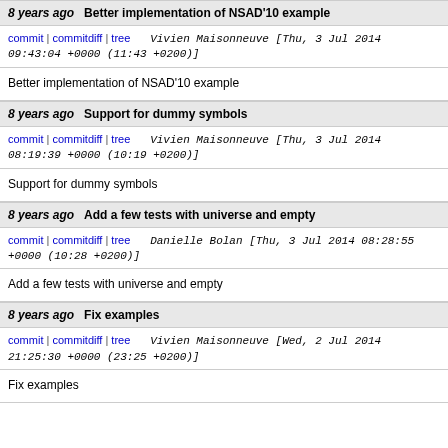8 years ago   Better implementation of NSAD'10 example
commit | commitdiff | tree   Vivien Maisonneuve [Thu, 3 Jul 2014 09:43:04 +0000 (11:43 +0200)]
Better implementation of NSAD'10 example
8 years ago   Support for dummy symbols
commit | commitdiff | tree   Vivien Maisonneuve [Thu, 3 Jul 2014 08:19:39 +0000 (10:19 +0200)]
Support for dummy symbols
8 years ago   Add a few tests with universe and empty
commit | commitdiff | tree   Danielle Bolan [Thu, 3 Jul 2014 08:28:55 +0000 (10:28 +0200)]
Add a few tests with universe and empty
8 years ago   Fix examples
commit | commitdiff | tree   Vivien Maisonneuve [Wed, 2 Jul 2014 21:25:30 +0000 (23:25 +0200)]
Fix examples